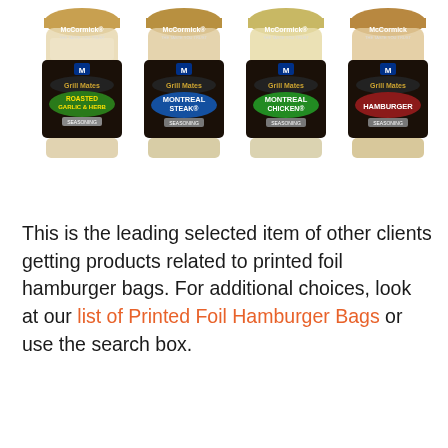[Figure (photo): Four McCormick Grill Mates seasoning jars in a row: Roasted Garlic & Herb, Montreal Steak, Montreal Chicken, and Hamburger Seasoning.]
This is the leading selected item of other clients getting products related to printed foil hamburger bags. For additional choices, look at our list of Printed Foil Hamburger Bags or use the search box.